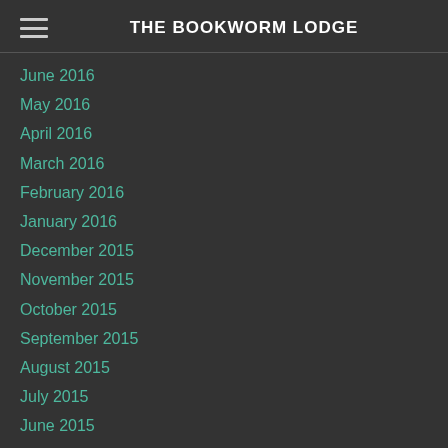THE BOOKWORM LODGE
June 2016
May 2016
April 2016
March 2016
February 2016
January 2016
December 2015
November 2015
October 2015
September 2015
August 2015
July 2015
June 2015
May 2015
April 2015
March 2015
February 2015